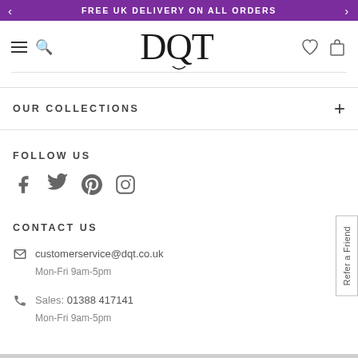FREE UK DELIVERY ON ALL ORDERS
[Figure (logo): DQT brand logo in serif font]
OUR COLLECTIONS
FOLLOW US
[Figure (illustration): Social media icons: Facebook, Twitter, Pinterest, Instagram]
CONTACT US
customerservice@dqt.co.uk
Mon-Fri 9am-5pm
Sales: 01388 417141
Mon-Fri 9am-5pm